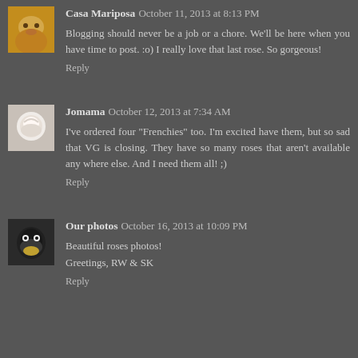[Figure (photo): Avatar photo of a dog (golden/tan colored)]
Casa Mariposa October 11, 2013 at 8:13 PM
Blogging should never be a job or a chore. We'll be here when you have time to post. :o) I really love that last rose. So gorgeous!
Reply
[Figure (photo): Avatar photo of a white flower/rose]
Jomama October 12, 2013 at 7:34 AM
I've ordered four "Frenchies" too. I'm excited have them, but so sad that VG is closing. They have so many roses that aren't available any where else. And I need them all! ;)
Reply
[Figure (photo): Avatar photo of a bird (dark bird with yellow beak)]
Our photos October 16, 2013 at 10:09 PM
Beautiful roses photos!
Greetings, RW & SK
Reply